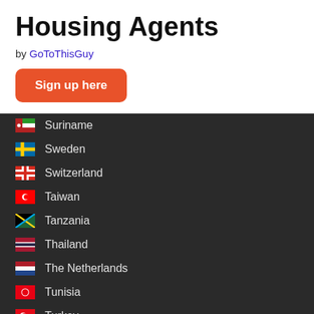Housing Agents
by GoToThisGuy
Sign up here
Suriname
Sweden
Switzerland
Taiwan
Tanzania
Thailand
The Netherlands
Tunisia
Turkey
Uganda
Ukraine
United Arab Emirates